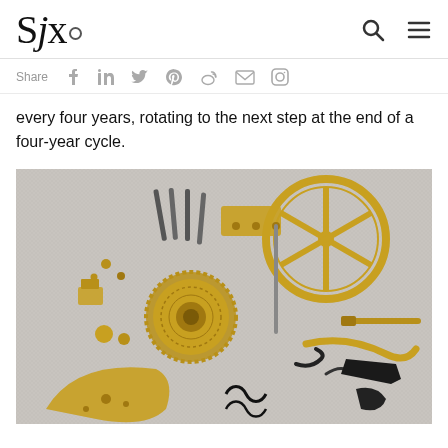SJx
Share
every four years, rotating to the next step at the end of a four-year cycle.
[Figure (photo): Exploded flat-lay of watch/clock movement components arranged on a light grey surface, including gears, springs, levers, and brass parts.]